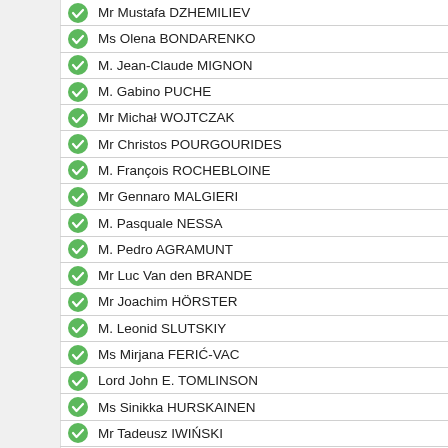Mr Mustafa DZHEMILIEV
Ms Olena BONDARENKO
M. Jean-Claude MIGNON
M. Gabino PUCHE
Mr Michał WOJTCZAK
Mr Christos POURGOURIDES
M. François ROCHEBLOINE
Mr Gennaro MALGIERI
M. Pasquale NESSA
M. Pedro AGRAMUNT
Mr Luc Van den BRANDE
Mr Joachim HÖRSTER
M. Leonid SLUTSKIY
Ms Mirjana FERIĆ-VAC
Lord John E. TOMLINSON
Ms Sinikka HURSKAINEN
Mr Tadeusz IWIŃSKI